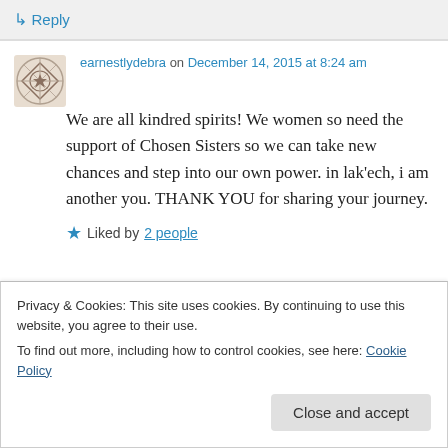↳ Reply
earnestlydebra on December 14, 2015 at 8:24 am
We are all kindred spirits! We women so need the support of Chosen Sisters so we can take new chances and step into our own power. in lak'ech, i am another you. THANK YOU for sharing your journey.
★ Liked by 2 people
Privacy & Cookies: This site uses cookies. By continuing to use this website, you agree to their use.
To find out more, including how to control cookies, see here: Cookie Policy
Close and accept
Thank you so much Debra. I really